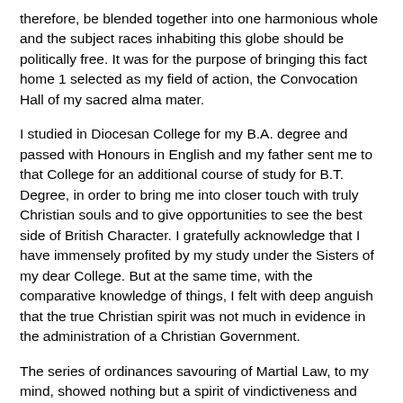therefore, be blended together into one harmonious whole and the subject races inhabiting this globe should be politically free. It was for the purpose of bringing this fact home 1 selected as my field of action, the Convocation Hall of my sacred alma mater.
I studied in Diocesan College for my B.A. degree and passed with Honours in English and my father sent me to that College for an additional course of study for B.T. Degree, in order to bring me into closer touch with truly Christian souls and to give opportunities to see the best side of British Character. I gratefully acknowledge that I have immensely profited by my study under the Sisters of my dear College. But at the same time, with the comparative knowledge of things, I felt with deep anguish that the true Christian spirit was not much in evidence in the administration of a Christian Government.
The series of ordinances savouring of Martial Law, to my mind, showed nothing but a spirit of vindictiveness and were only measures to crush all aspirations for freedom. The outrages perpetrated in the name of Government at Midnapore, Hijli and Chittagong (my own district), the refusal to publish the Official Enquiry Reports and many